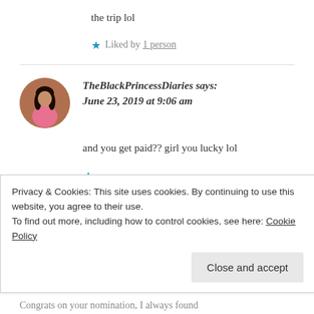the trip lol
★ Liked by 1 person
TheBlackPrincessDiaries says:
June 23, 2019 at 9:06 am
and you get paid?? girl you lucky lol
Privacy & Cookies: This site uses cookies. By continuing to use this website, you agree to their use.
To find out more, including how to control cookies, see here: Cookie Policy
Close and accept
Congrats on your nomination, I always found